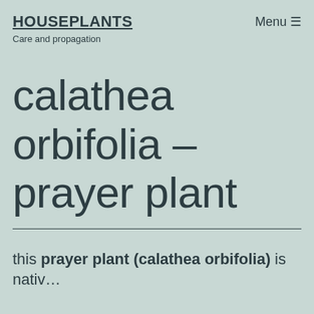HOUSEPLANTS
Care and propagation
Menu ☰
calathea orbifolia – prayer plant
this prayer plant (calathea orbifolia) is native…